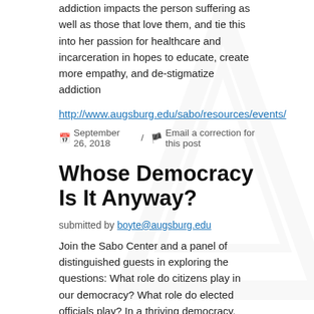addiction impacts the person suffering as well as those that love them, and tie this into her passion for healthcare and incarceration in hopes to educate, create more empathy, and de-stigmatize addiction
http://www.augsburg.edu/sabo/resources/events/
September 26, 2018 / Email a correction for this post
Whose Democracy Is It Anyway?
submitted by boyte@augsburg.edu
Join the Sabo Center and a panel of distinguished guests in exploring the questions: What role do citizens play in our democracy? What role do elected officials play? In a thriving democracy, how do (or should) the two interact?
October 4, 2018
4:00 – 6:00 p.m.
Hagfors Center, Room 150, Augsburg University
Panelists: